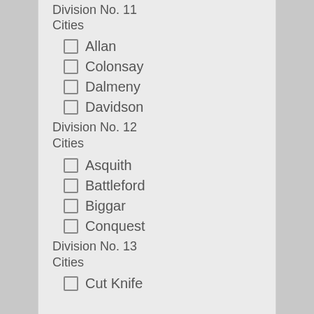Division No. 11
Cities
Allan
Colonsay
Dalmeny
Davidson
Division No. 12
Cities
Asquith
Battleford
Biggar
Conquest
Division No. 13
Cities
Cut Knife